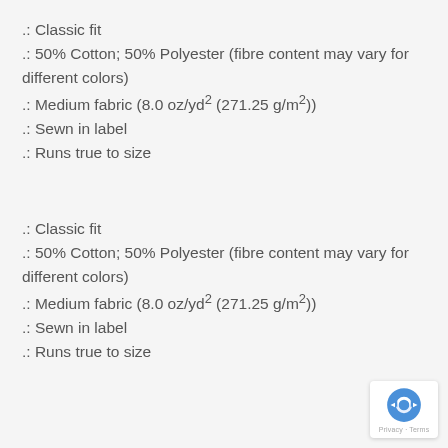.: Classic fit
.: 50% Cotton; 50% Polyester (fibre content may vary for different colors)
.: Medium fabric (8.0 oz/yd² (271.25 g/m²))
.: Sewn in label
.: Runs true to size
.: Classic fit
.: 50% Cotton; 50% Polyester (fibre content may vary for different colors)
.: Medium fabric (8.0 oz/yd² (271.25 g/m²))
.: Sewn in label
.: Runs true to size